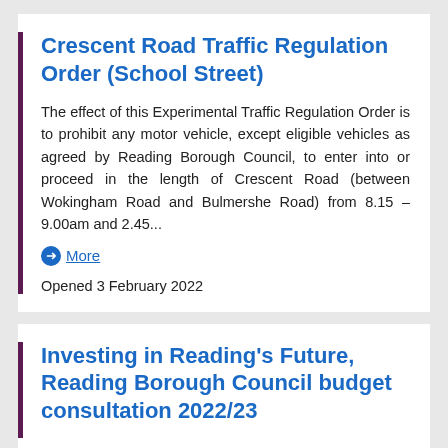Crescent Road Traffic Regulation Order (School Street)
The effect of this Experimental Traffic Regulation Order is to prohibit any motor vehicle, except eligible vehicles as agreed by Reading Borough Council, to enter into or proceed in the length of Crescent Road (between Wokingham Road and Bulmershe Road) from 8.15 – 9.00am and 2.45...
More
Opened 3 February 2022
Investing in Reading's Future, Reading Borough Council budget consultation 2022/23